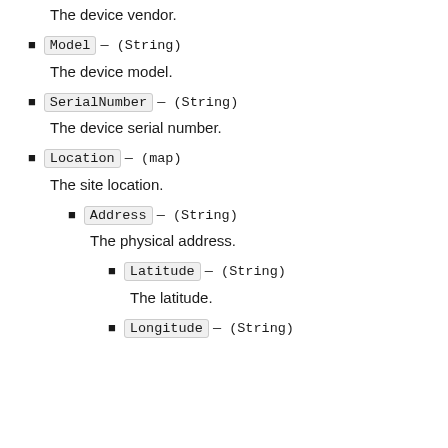The device vendor.
Model — (String)
The device model.
SerialNumber — (String)
The device serial number.
Location — (map)
The site location.
Address — (String)
The physical address.
Latitude — (String)
The latitude.
Longitude — (String)